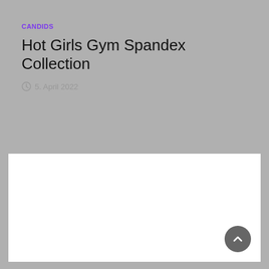CANDIDS
Hot Girls Gym Spandex Collection
5. April 2022
[Figure (other): White content card area below — blank white rectangle]